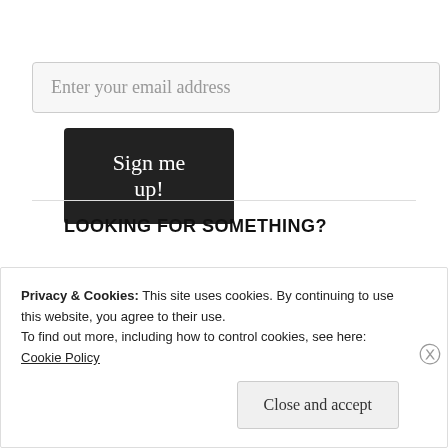Enter your email address
Sign me up!
LOOKING FOR SOMETHING?
Search ...
Privacy & Cookies: This site uses cookies. By continuing to use this website, you agree to their use.
To find out more, including how to control cookies, see here:
Cookie Policy
Close and accept